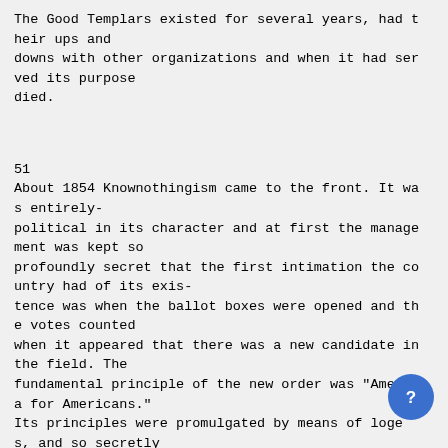The Good Templars existed for several years, had their ups and downs with other organizations and when it had served its purpose died.
51
About 1854 Knownothingism came to the front. It was entirely-political in its character and at first the management was kept so profoundly secret that the first intimation the country had of its existence was when the ballot boxes were opened and the votes counted when it appeared that there was a new candidate in the field. The fundamental principle of the new order was "America for Americans." Its principles were promulgated by means of lodges, and so secretly was this done that often a lodge would be in operation from the